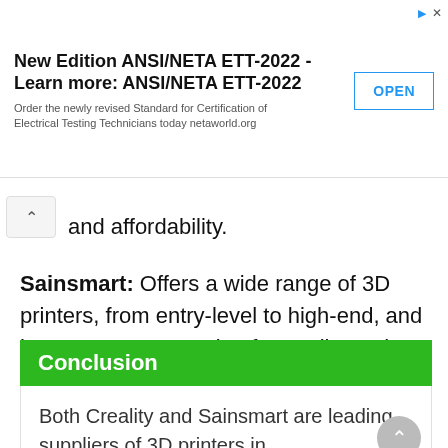[Figure (other): Advertisement banner: 'New Edition ANSI/NETA ETT-2022 - Learn more: ANSI/NETA ETT-2022' with an OPEN button and subtext 'Order the newly revised Standard for Certification of Electrical Testing Technicians today netaworld.org']
and affordability.
Sainsmart: Offers a wide range of 3D printers, from entry-level to high-end, and has a strong reputation for quality and affordability.
Conclusion
Both Creality and Sainsmart are leading suppliers of 3D printers in